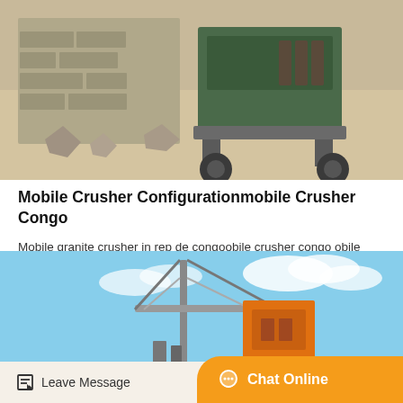[Figure (photo): Aerial view of a mobile rock crusher/jaw crusher machine working at a quarry site with limestone blocks and sandy ground]
Mobile Crusher Configurationmobile Crusher Congo
Mobile granite crusher in rep de congoobile crusher congo obile crushers in congo grinding mill equipmentosborn south africaignificant export order for jaw crushers and apron feeders f…
Get Price
[Figure (photo): Industrial mobile crushing/conveyor equipment with a crane-like structure against a blue sky with white clouds]
Leave Message
Chat Online